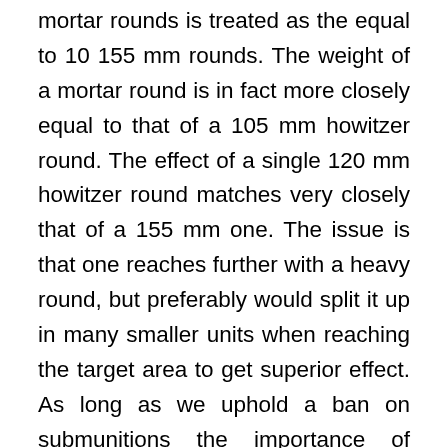mortar rounds is treated as the equal to 10 155 mm rounds. The weight of a mortar round is in fact more closely equal to that of a 105 mm howitzer round. The effect of a single 120 mm howitzer round matches very closely that of a 155 mm one. The issue is that one reaches further with a heavy round, but preferably would split it up in many smaller units when reaching the target area to get superior effect. As long as we uphold a ban on submunitions the importance of choosing a calibre that gives good effect in the target increases. Scientific advances also make it possible to fit a seeker in smaller rounds than before, though it would be difficult to get a good effect on a target for 120